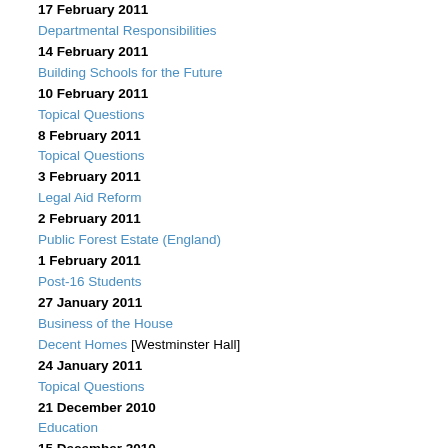17 February 2011
Departmental Responsibilities
14 February 2011
Building Schools for the Future
10 February 2011
Topical Questions
8 February 2011
Topical Questions
3 February 2011
Legal Aid Reform
2 February 2011
Public Forest Estate (England)
1 February 2011
Post-16 Students
27 January 2011
Business of the House
Decent Homes [Westminster Hall]
24 January 2011
Topical Questions
21 December 2010
Education
15 December 2010
Financial Support (Students) [Westminster Hall]
14 December 2010
Legal aid [Westminster Hall]
7 December 2010
Social Housing (Nottingham) [Westminster Hall]